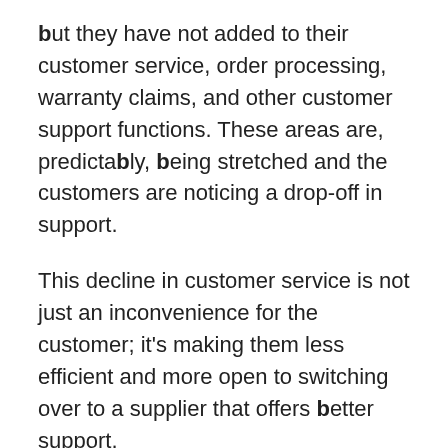but they have not added to their customer service, order processing, warranty claims, and other customer support functions. These areas are, predictably, being stretched and the customers are noticing a drop-off in support.
This decline in customer service is not just an inconvenience for the customer; it's making them less efficient and more open to switching over to a supplier that offers better support.
4. The New Role of Printed